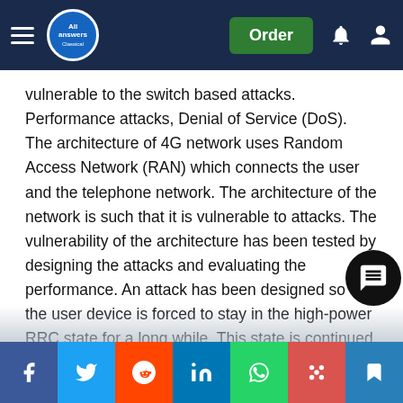All Answers | Order
vulnerable to the switch based attacks. Performance attacks, Denial of Service (DoS). The architecture of 4G network uses Random Access Network (RAN) which connects the user and the telephone network. The architecture of the network is such that it is vulnerable to attacks. The vulnerability of the architecture has been tested by designing the attacks and evaluating the performance. An attack has been designed so that the user device is forced to stay in the high-power RRC state for a long while. This state is continued by sending messages continuously to the device. Silent automatic calls will be placed using the VoLTE server which will indirectly control the device and deny any other legitimate operations. The evaluation of the process is carried out and it was found the effect is same in case of both CSFB and VoLTE scenarios. According to the
Social share bar: Facebook, Twitter, Reddit, LinkedIn, WhatsApp, Digg, Bookmark